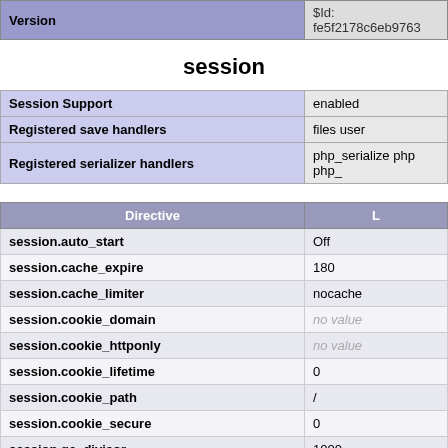Version | $Id: fe5f2178c6eb9763
session
|  |  |
| --- | --- |
| Session Support | enabled |
| Registered save handlers | files user |
| Registered serializer handlers | php_serialize php php_ |
| Directive | L |
| --- | --- |
| session.auto_start | Off |
| session.cache_expire | 180 |
| session.cache_limiter | nocache |
| session.cookie_domain | no value |
| session.cookie_httponly | no value |
| session.cookie_lifetime | 0 |
| session.cookie_path | / |
| session.cookie_secure | 0 |
| session.gc_divisor | 1000 |
| session.gc_maxlifetime | 1440 |
| session.gc_probability | 1 |
| session.lazy_write | On |